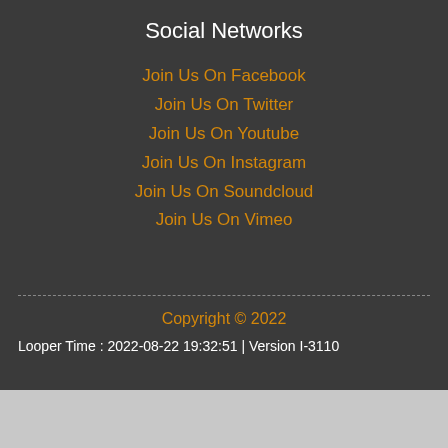Social Networks
Join Us On Facebook
Join Us On Twitter
Join Us On Youtube
Join Us On Instagram
Join Us On Soundcloud
Join Us On Vimeo
Copyright © 2022
Looper Time : 2022-08-22 19:32:51 | Version I-3110